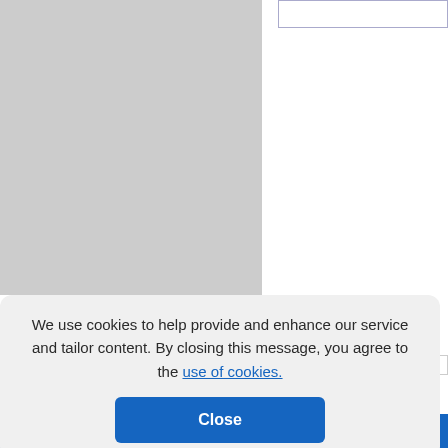[Figure (screenshot): Gray placeholder image box in top-left portion of the page, representing a document or figure thumbnail]
Papers
We use cookies to help provide and enhance our service and tailor content. By closing this message, you agree to the use of cookies.
Close
FAQ | My